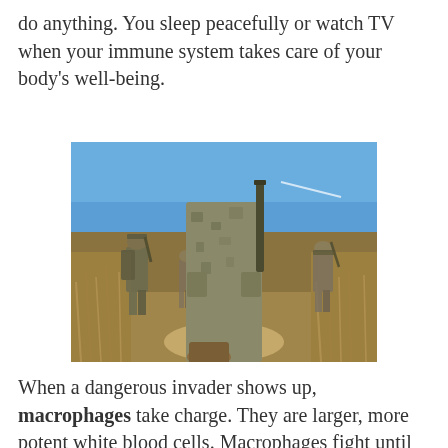do anything. You sleep peacefully or watch TV when your immune system takes care of your body's well-being.
[Figure (photo): Soldiers in military camouflage gear walking through dry brush terrain under a blue sky, viewed from a low angle behind the lead soldier.]
When a dangerous invader shows up, macrophages take charge. They are larger, more potent white blood cells. Macrophages fight until the end, when the last intruder is destroyed.